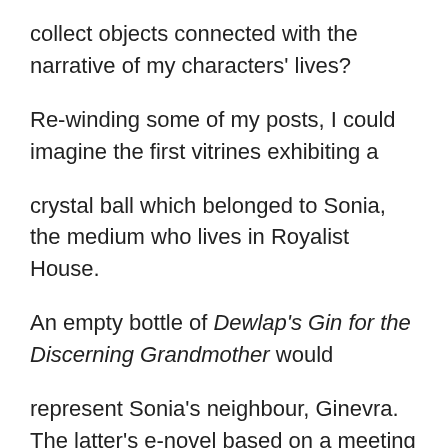collect objects connected with the narrative of my characters' lives?
Re-winding some of my posts, I could imagine the first vitrines exhibiting a
crystal ball which belonged to Sonia, the medium who lives in Royalist House.
An empty bottle of Dewlap's Gin for the Discerning Grandmother would
represent Sonia's neighbour, Ginevra.  The latter's e-novel based on a meeting
of geriatric hearts and minds could be referred to by a mobility scooter, which,